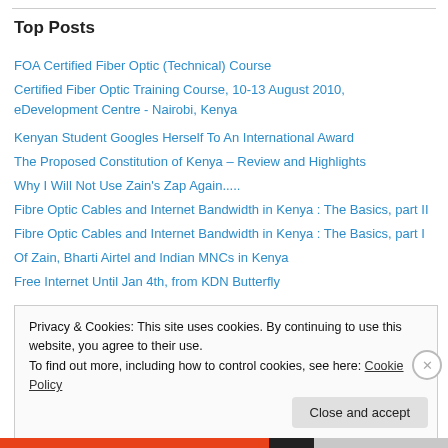Top Posts
FOA Certified Fiber Optic (Technical) Course
Certified Fiber Optic Training Course, 10-13 August 2010, eDevelopment Centre - Nairobi, Kenya
Kenyan Student Googles Herself To An International Award
The Proposed Constitution of Kenya – Review and Highlights
Why I Will Not Use Zain's Zap Again.....
Fibre Optic Cables and Internet Bandwidth in Kenya : The Basics, part II
Fibre Optic Cables and Internet Bandwidth in Kenya : The Basics, part I
Of Zain, Bharti Airtel and Indian MNCs in Kenya
Free Internet Until Jan 4th, from KDN Butterfly
Privacy & Cookies: This site uses cookies. By continuing to use this website, you agree to their use.
To find out more, including how to control cookies, see here: Cookie Policy
Close and accept